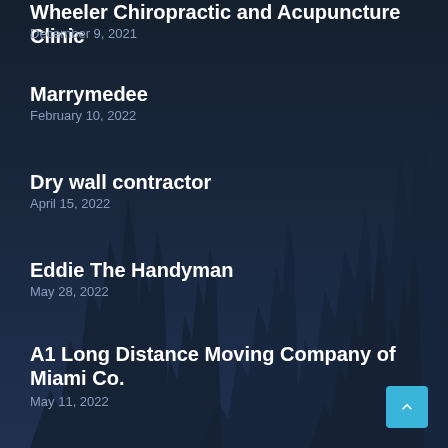Wheeler Chiropractic and Acupuncture Clinic
December 9, 2021
Marrymedee
February 10, 2022
Dry wall contractor
April 15, 2022
Eddie The Handyman
May 28, 2022
A1 Long Distance Moving Company of Miami Co.
May 11, 2022